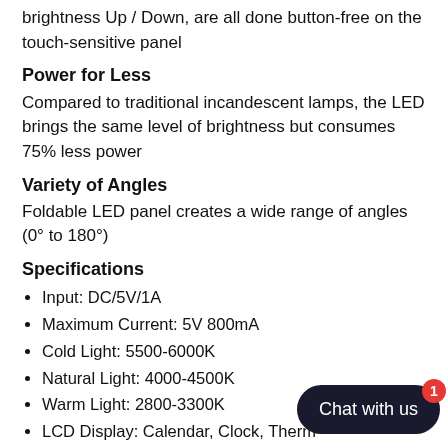brightness Up / Down, are all done button-free on the touch-sensitive panel
Power for Less
Compared to traditional incandescent lamps, the LED brings the same level of brightness but consumes 75% less power
Variety of Angles
Foldable LED panel creates a wide range of angles (0° to 180°)
Specifications
Input: DC/5V/1A
Maximum Current: 5V 800mA
Cold Light: 5500-6000K
Natural Light: 4000-4500K
Warm Light: 2800-3300K
LCD Display: Calendar, Clock, Therm...
Clock Battery: 1x CR2032 button ca...
Power Consumption: 4W
Intensity of illumination: 800lux